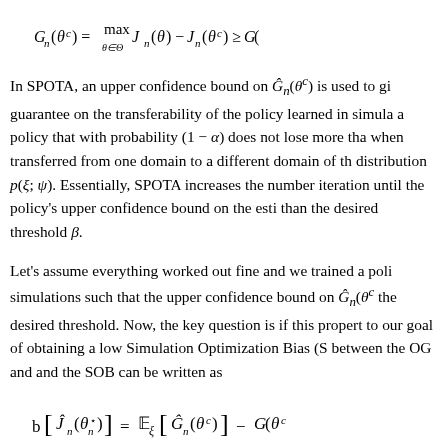In SPOTA, an upper confidence bound on Ĝ_n(θ^c) is used to give a guarantee on the transferability of the policy learned in simulation: a policy that with probability (1 − α) does not lose more than β when transferred from one domain to a different domain of the distribution p(ξ; ψ). Essentially, SPOTA increases the number of iteration until the policy's upper confidence bound on the estimated gap is less than the desired threshold β.
Let's assume everything worked out fine and we trained a policy over simulations such that the upper confidence bound on Ĝ_n(θ^c) is below the desired threshold. Now, the key question is if this property relates to our goal of obtaining a low Simulation Optimization Bias (SOB). The relation between the OG and and the SOB can be written as
where in this case the evaluation is performed in the real world